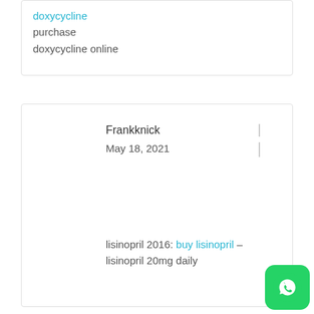doxycycline purchase doxycycline online
Frankknick
May 18, 2021
lisinopril 2016: buy lisinopril – lisinopril 20mg daily
[Figure (logo): WhatsApp green rounded square icon with white phone/chat bubble]